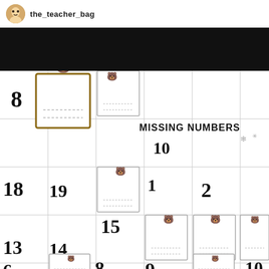the_teacher_bag
[Figure (screenshot): Black banner/header bar from Instagram or social media post]
[Figure (illustration): Educational worksheet showing 'Missing Numbers' activity with polar bear clipart holding clipboards on a number grid. Numbers visible: 8, 10, 10, 18, 19, 15, 1, 2, 5, 6, 13, 14, 8, 17, 9, 9, 10, 6, 10 with blank clipboard spaces for missing numbers. Snowflake decorations near title.]